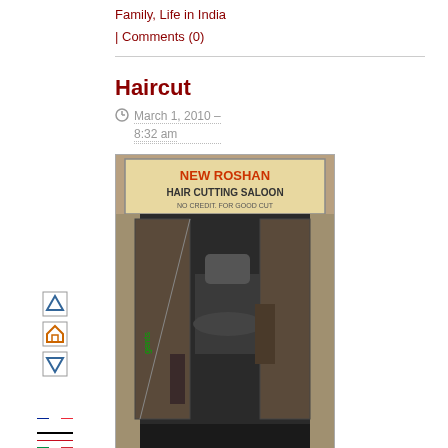Family, Life in India
| Comments (0)
Haircut
March 1, 2010 – 8:32 am
[Figure (photo): Exterior of New Roshan Hair Cutting Saloon, an Indian barbershop with a sign and open doors showing interior furniture.]
Didn't think getting a haircut was a big deal? It is when you walk through an Indian neighborhood to get there. I've